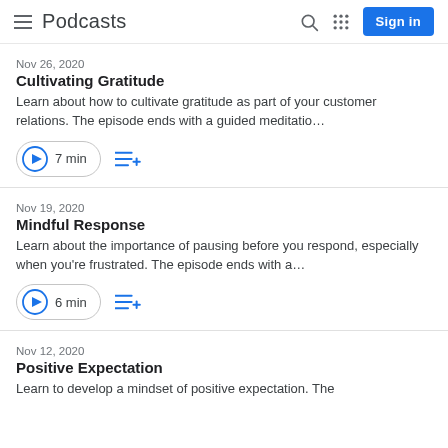Podcasts
Nov 26, 2020
Cultivating Gratitude
Learn about how to cultivate gratitude as part of your customer relations. The episode ends with a guided meditatio…
7 min
Nov 19, 2020
Mindful Response
Learn about the importance of pausing before you respond, especially when you're frustrated. The episode ends with a…
6 min
Nov 12, 2020
Positive Expectation
Learn to develop a mindset of positive expectation. The